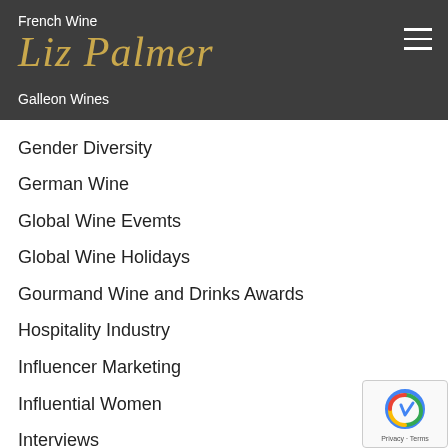French Wine / Liz Palmer / Galleon Wines
Gender Diversity
German Wine
Global Wine Evemts
Global Wine Holidays
Gourmand Wine and Drinks Awards
Hospitality Industry
Influencer Marketing
Influential Women
Interviews
Irish Whiskey